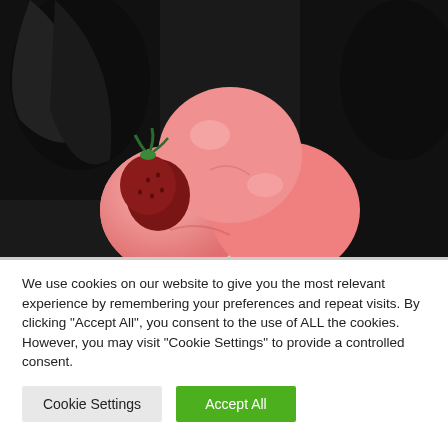[Figure (photo): Photograph of three scoops of pink strawberry ice cream in a white cup, with a whole strawberry garnish and dark gloved hand visible, on a dark background.]
We use cookies on our website to give you the most relevant experience by remembering your preferences and repeat visits. By clicking "Accept All", you consent to the use of ALL the cookies. However, you may visit "Cookie Settings" to provide a controlled consent.